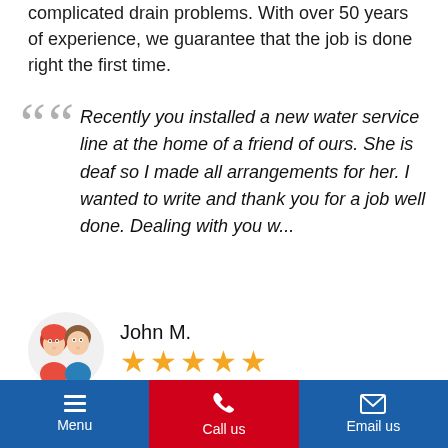complicated drain problems. With over 50 years of experience, we guarantee that the job is done right the first time.
Recently you installed a new water service line at the home of a friend of ours. She is deaf so I made all arrangements for her. I wanted to write and thank you for a job well done. Dealing with you w...
John M.
[Figure (illustration): Cartoon avatar of a couple - woman with red hair and man with brown hair]
★★★★★
We had an emergency service fulfilled in a timely and professional manner. Your
Menu | Call us | Email us